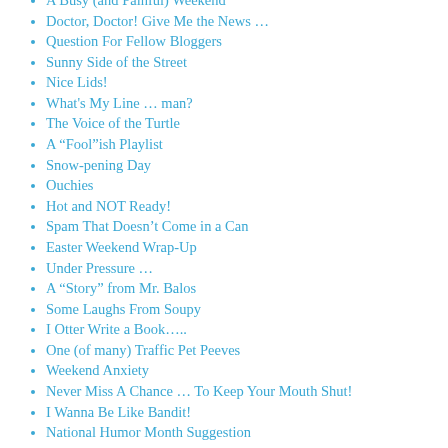A Busy (and Painful) Weekend
Doctor, Doctor! Give Me the News …
Question For Fellow Bloggers
Sunny Side of the Street
Nice Lids!
What's My Line … man?
The Voice of the Turtle
A “Fool”ish Playlist
Snow-pening Day
Ouchies
Hot and NOT Ready!
Spam That Doesn’t Come in a Can
Easter Weekend Wrap-Up
Under Pressure …
A “Story” from Mr. Balos
Some Laughs From Soupy
I Otter Write a Book…..
One (of many) Traffic Pet Peeves
Weekend Anxiety
Never Miss A Chance … To Keep Your Mouth Shut!
I Wanna Be Like Bandit!
National Humor Month Suggestion
And the baby is a ….